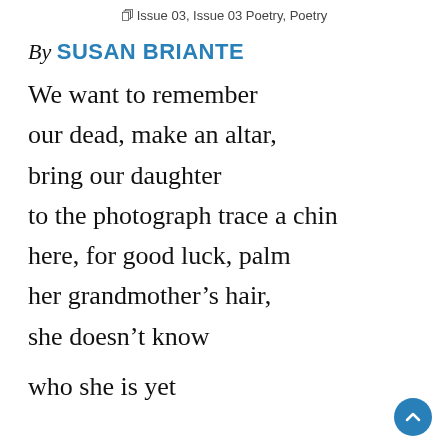Issue 03, Issue 03 Poetry, Poetry
By SUSAN BRIANTE
We want to remember
our dead, make an altar,
bring our daughter
to the photograph trace a chin
here, for good luck, palm
her grandmother’s hair,
she doesn’t know

who she is yet